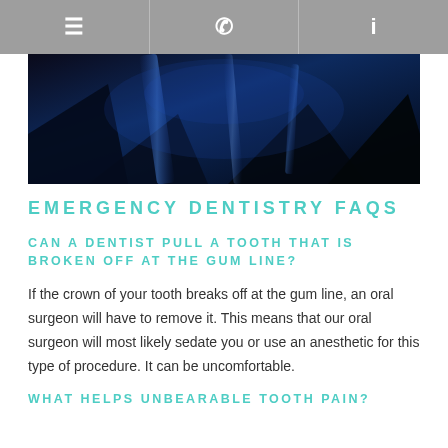≡  ✆  i
[Figure (photo): Dark blue abstract dental office or professional background image with blue lighting]
EMERGENCY DENTISTRY FAQS
CAN A DENTIST PULL A TOOTH THAT IS BROKEN OFF AT THE GUM LINE?
If the crown of your tooth breaks off at the gum line, an oral surgeon will have to remove it. This means that our oral surgeon will most likely sedate you or use an anesthetic for this type of procedure. It can be uncomfortable.
WHAT HELPS UNBEARABLE TOOTH PAIN?